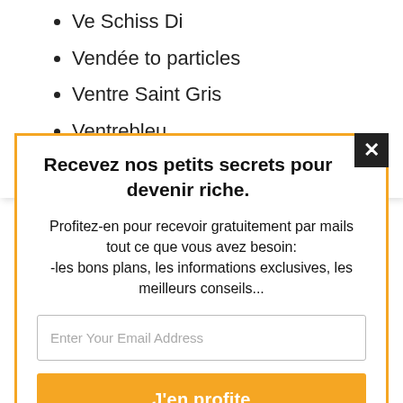Ve Schiss Di
Vendée to particles
Ventre Saint Gris
Ventrebleu
Verpiss Dich!
Recevez nos petits secrets pour devenir riche.
Profitez-en pour recevoir gratuitement par mails tout ce que vous avez besoin: -les bons plans, les informations exclusives, les meilleurs conseils...
Enter Your Email Address
J'en profite